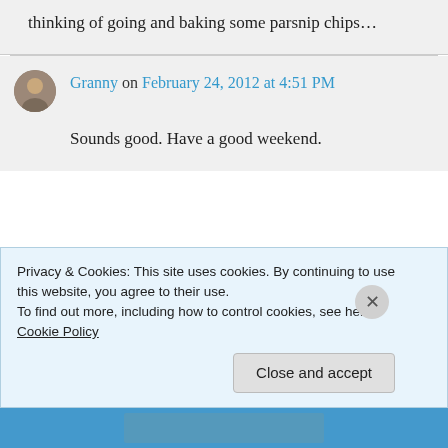thinking of going and baking some parsnip chips…
Granny on February 24, 2012 at 4:51 PM
Sounds good. Have a good weekend.
Privacy & Cookies: This site uses cookies. By continuing to use this website, you agree to their use. To find out more, including how to control cookies, see here: Cookie Policy
Close and accept